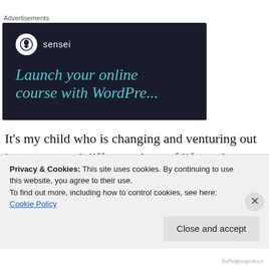[Figure (advertisement): Sensei advertisement banner with dark background showing logo and 'Launch your online course with WordPress' headline in teal italic text]
It's my child who is changing and venturing out into a new and different phase of life, and as much as I want to impart all of my life wisdom into him as quickly as I can, I
Privacy & Cookies: This site uses cookies. By continuing to use this website, you agree to their use.
To find out more, including how to control cookies, see here: Cookie Policy
huffingtonpost.co